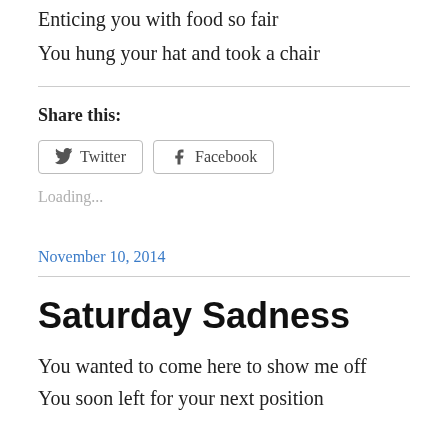Enticing you with food so fair
You hung your hat and took a chair
Share this:
Loading...
November 10, 2014
Saturday Sadness
You wanted to come here to show me off
You soon left for your next position